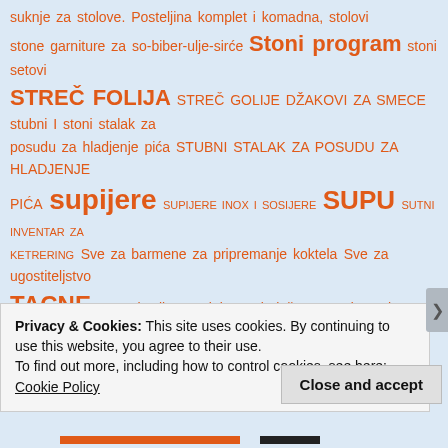suknje za stolove. Posteljina komplet i komadna, stolovi stone garniture za so-biber-ulje-sirće Stoni program stoni setovi STREČ FOLIJA STREČ GOLIJE DŽAKOVI ZA SMECE stubni I stoni stalak za posudu za hladjenje pića STUBNI STALAK ZA POSUDU ZA HLADJENJE PIĆA supijere SUPIJERE INOX I SOSIJERE SUPU SUTNI INVENTAR ZA KETRERING Sve za barmene za pripremanje koktela Sve za ugostiteljstvo TACNE tacne i pribor za jelo. Ambalažne posude za hranu od PET TANJIRI TANJIRI INOX PLITKI-DUBOKI-DESERTNI TANJIRI PORCELANSKI DUBOKI TANJIR ZA PIZZU Tel/Fax.011/2661618 tembala TEPSIJE ZA BUREK TERMO TERMO BOKS TERMOBOX TERMO BOX ZA CNA POSUDE TERMOBOX ZA SUPOSURE termo box...
Privacy & Cookies: This site uses cookies. By continuing to use this website, you agree to their use.
To find out more, including how to control cookies, see here: Cookie Policy
Close and accept